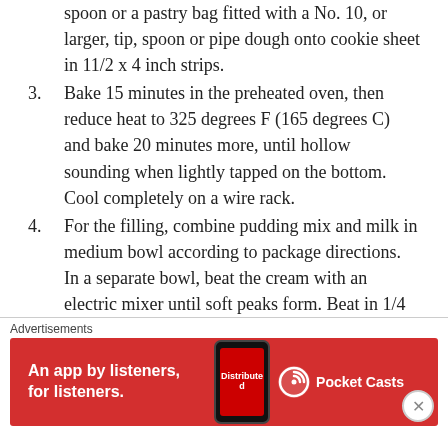spoon or a pastry bag fitted with a No. 10, or larger, tip, spoon or pipe dough onto cookie sheet in 11/2 x 4 inch strips.
3. Bake 15 minutes in the preheated oven, then reduce heat to 325 degrees F (165 degrees C) and bake 20 minutes more, until hollow sounding when lightly tapped on the bottom. Cool completely on a wire rack.
4. For the filling, combine pudding mix and milk in medium bowl according to package directions. In a separate bowl, beat the cream with an electric mixer until soft peaks form. Beat in 1/4 cup confectioners' sugar and 1 teaspoon vanilla. Fold
[Figure (other): Advertisement banner: red background with text 'An app by listeners, for listeners.' and Pocket Casts logo with phone image showing 'Distributed' on screen. Close button (X) in bottom right.]